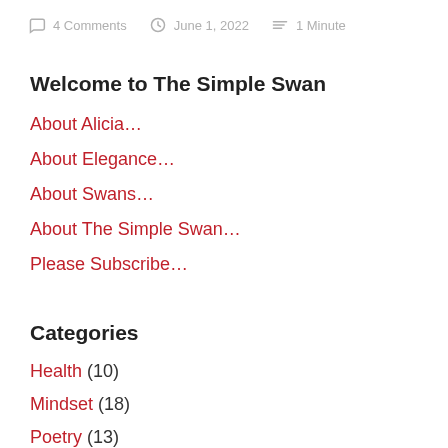4 Comments   June 1, 2022   1 Minute
Welcome to The Simple Swan
About Alicia…
About Elegance…
About Swans…
About The Simple Swan…
Please Subscribe…
Categories
Health (10)
Mindset (18)
Poetry (13)